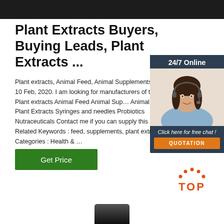[Figure (photo): Dark banner/header image at the top of the page]
Plant Extracts Buyers, Buying Leads, Plant Extracts ...
Plant extracts, Animal Feed, Animal Supplements, Vaccine 10 Feb, 2020. I am looking for manufacturers of the following: Plant extracts Animal Feed Animal Supplements Animal Vaccine Plant Extracts Syringes and needles Probiotics Nutraceuticals Contact me if you can supply this products Related Keywords : feed, supplements, plant extracts Categories : Health & ...
[Figure (infographic): 24/7 Online chat widget with woman wearing headset, click here for free chat, QUOTATION button]
Get Price
[Figure (logo): TOP badge with orange dots arc and orange TOP text]
[Figure (photo): Bottom of page showing top of a dark bottle cap]